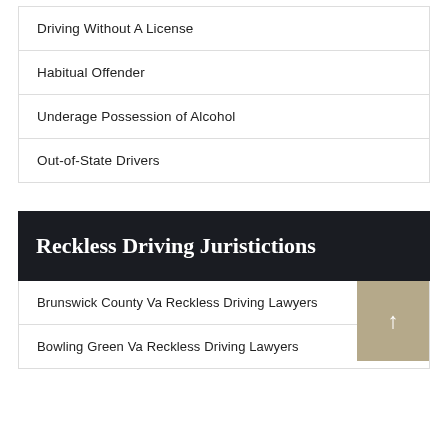Driving Without A License
Habitual Offender
Underage Possession of Alcohol
Out-of-State Drivers
Reckless Driving Juristictions
Brunswick County Va Reckless Driving Lawyers
Bowling Green Va Reckless Driving Lawyers